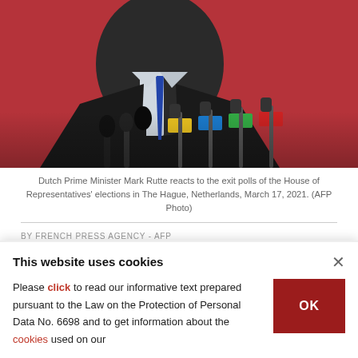[Figure (photo): Dutch Prime Minister Mark Rutte at a press conference podium with multiple microphones, wearing a dark suit and blue tie, with a red background]
Dutch Prime Minister Mark Rutte reacts to the exit polls of the House of Representatives' elections in The Hague, Netherlands, March 17, 2021. (AFP Photo)
BY FRENCH PRESS AGENCY - AFP
MAR 18, 2021 8:45 AM
Dutch Prime Minister Mark Rutte claimed an "overwhelming" victory in the general
This website uses cookies
Please click to read our informative text prepared pursuant to the Law on the Protection of Personal Data No. 6698 and to get information about the cookies used on our